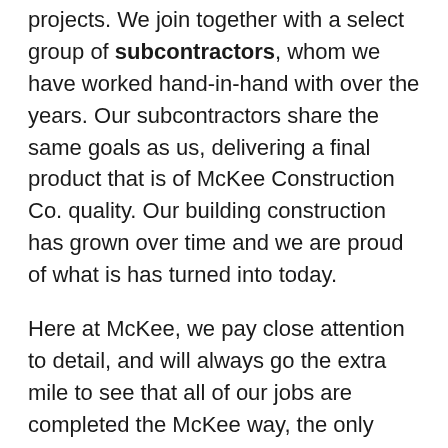projects. We join together with a select group of subcontractors, whom we have worked hand-in-hand with over the years. Our subcontractors share the same goals as us, delivering a final product that is of McKee Construction Co. quality. Our building construction has grown over time and we are proud of what is has turned into today.
Here at McKee, we pay close attention to detail, and will always go the extra mile to see that all of our jobs are completed the McKee way, the only way. We have set a standard that we live and work by, and this has allowed us to grow and flourish over the years. Hard work and dedication from our entire team is the